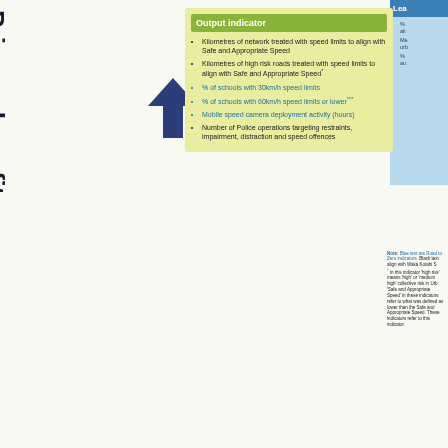Primary benefit: sa
Working performance indic
[Figure (other): Upward pointing arrow indicator]
Output indicator
Kilometres of network treated with speed limits to align with Safe and Appropriate Speed
Kilometres of high risk roads treated with speed limits to align with Safe and Appropriate Speed*
% of schools with 30km/h speed limits
% of schools with 60km/h speed limits or lower***
Mobile speed camera deployment activity (hours)
Number of Police operations targeting restraints, impairment, distraction and speed offences
Lea
% align
Me urb
% au
Note: Blue text are Road to Zero indicators. Black text align with Waka Kotahi S* In this indicator 'high risk' means 'high' or 'medium high' collective risk in Urb 'Safe and Appropriate Speed' in these indicators refer to what was defined as lower than the Safe and Appropriate Speed. These indicators refer to this indicator.